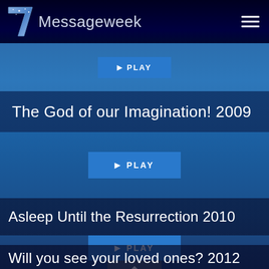7 Messageweek
[Figure (screenshot): Partial play button visible at top of content area]
The God of our Imagination! 2009
[Figure (screenshot): PLAY button for The God of our Imagination! 2009]
Asleep Until the Resurrection 2010
[Figure (screenshot): PLAY button for Asleep Until the Resurrection 2010 with scroll-up chevron]
Will you see your loved ones? 2012